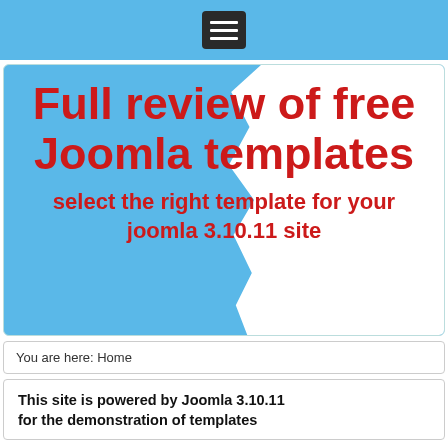☰ (hamburger menu button)
[Figure (illustration): Hero banner with blue background and torn paper effect revealing white on the right side. Large red bold text reads 'Full review of free Joomla templates' with subtitle 'select the right template for your joomla 3.10.11 site']
You are here: Home
This site is powered by Joomla 3.10.11 for the demonstration of templates